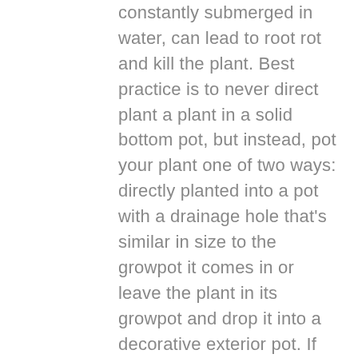constantly submerged in water, can lead to root rot and kill the plant. Best practice is to never direct plant a plant in a solid bottom pot, but instead, pot your plant one of two ways: directly planted into a pot with a drainage hole that's similar in size to the growpot it comes in or leave the plant in its growpot and drop it into a decorative exterior pot. If you choose the latter, just make sure you lift up the growpot and check after watering to make sure you aren't leaving standing water. Dump out any surplus water, and over time you'll start to get the hang of how much is